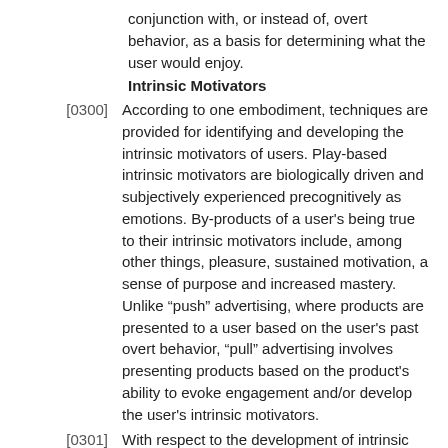conjunction with, or instead of, overt behavior, as a basis for determining what the user would enjoy.
Intrinsic Motivators
[0300] According to one embodiment, techniques are provided for identifying and developing the intrinsic motivators of users. Play-based intrinsic motivators are biologically driven and subjectively experienced precognitively as emotions. By-products of a user's being true to their intrinsic motivators include, among other things, pleasure, sustained motivation, a sense of purpose and increased mastery. Unlike “push” advertising, where products are presented to a user based on the user's past overt behavior, “pull” advertising involves presenting products based on the product's ability to evoke engagement and/or develop the user's intrinsic motivators.
[0301] With respect to the development of intrinsic motivators, it is believed that the genesis and expression of selected intrinsic motivators comes from and through the biological drive to play. Intrinsic motivators identified through the myriad